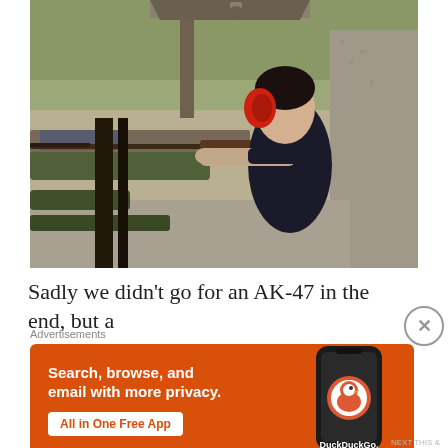[Figure (photo): A woman wearing red ear protection and a black vest at a shooting range, aiming a rifle. She is standing near concrete barriers with trees and a shelter in the background.]
Sadly we didn't go for an AK-47 in the end, but a
[Figure (infographic): DuckDuckGo advertisement banner with orange background. Text reads: 'Search, browse, and email with more privacy. All in One Free App' with a phone showing the DuckDuckGo duck logo and the text 'DuckDuckGo.']
Advertisements